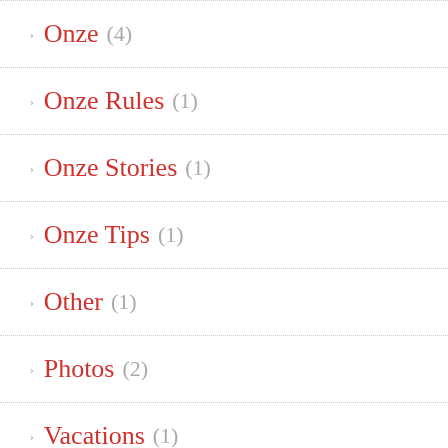Onze (4)
Onze Rules (1)
Onze Stories (1)
Onze Tips (1)
Other (1)
Photos (2)
Vacations (1)
Videos (2)